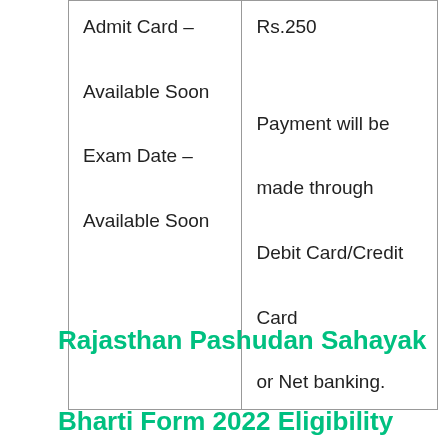| Admit Card – Available Soon
Exam Date – Available Soon | Rs.250

Payment will be made through Debit Card/Credit Card or Net banking. |
Rajasthan Pashudan Sahayak Bharti Form 2022 Eligibility